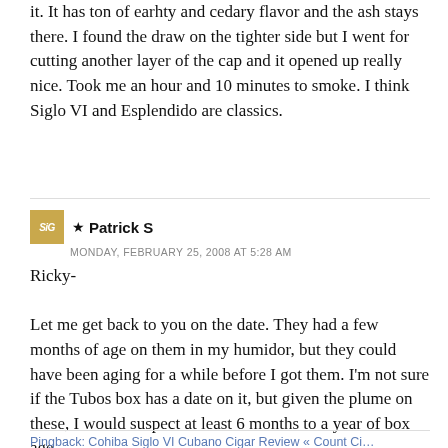it. It has ton of earhty and cedary flavor and the ash stays there. I found the draw on the tighter side but I went for cutting another layer of the cap and it opened up really nice. Took me an hour and 10 minutes to smoke. I think Siglo VI and Esplendido are classics.
★ Patrick S
MONDAY, FEBRUARY 25, 2008 AT 5:28 AM
Ricky-

Let me get back to you on the date. They had a few months of age on them in my humidor, but they could have been aging for a while before I got them. I'm not sure if the Tubos box has a date on it, but given the plume on these, I would suspect at least 6 months to a year of box age.
Pingback: Cohiba Siglo VI Cubano Cigar Review « Count Ci...